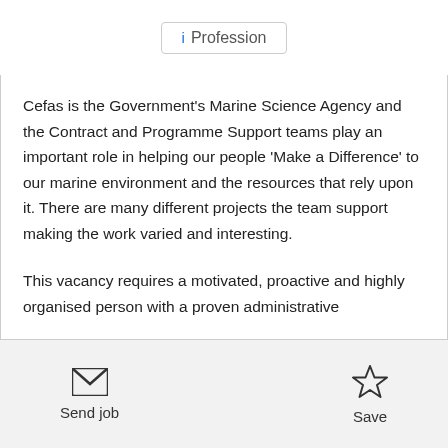Profession
Cefas is the Government's Marine Science Agency and the Contract and Programme Support teams play an important role in helping our people 'Make a Difference' to our marine environment and the resources that rely upon it. There are many different projects the team support making the work varied and interesting.
This vacancy requires a motivated, proactive and highly organised person with a proven administrative
Send job
Save